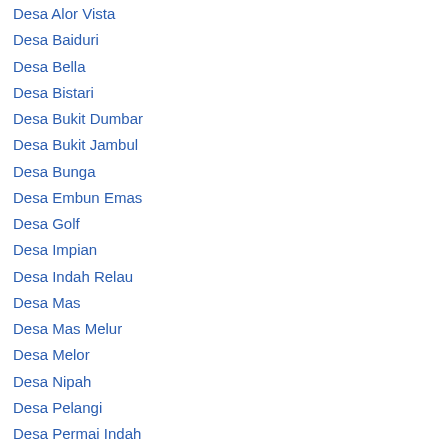Desa Alor Vista
Desa Baiduri
Desa Bella
Desa Bistari
Desa Bukit Dumbar
Desa Bukit Jambul
Desa Bunga
Desa Embun Emas
Desa Golf
Desa Impian
Desa Indah Relau
Desa Mas
Desa Mas Melur
Desa Melor
Desa Nipah
Desa Pelangi
Desa Permai Indah
Desa Samudra
Desa Sukt…